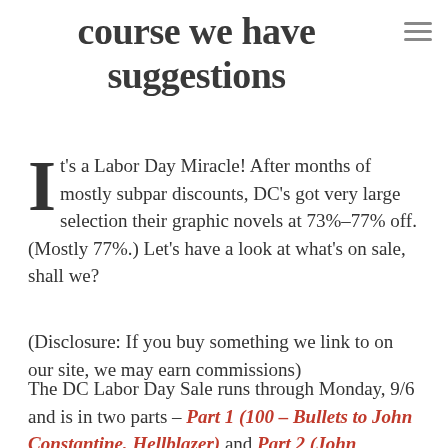course we have suggestions
It's a Labor Day Miracle!  After months of mostly subpar discounts, DC's got very large selection their graphic novels at 73%-77% off. (Mostly 77.)  Let's have a look at what's on sale, shall we?
(Disclosure: If you buy something we link to on our site, we may earn commissions)
The DC Labor Day Sale runs through Monday, 9/6 and is in two parts – Part 1 (100 – Bullets to John Constantine, Hellblazer) and Part 2 (John Constantine, Hellblazer to Zero Hour).